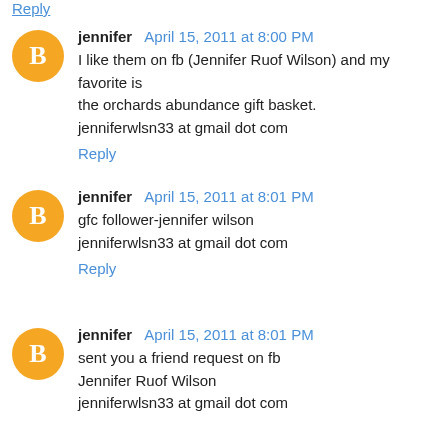Reply
jennifer  April 15, 2011 at 8:00 PM
I like them on fb (Jennifer Ruof Wilson) and my favorite is the orchards abundance gift basket.
jenniferwlsn33 at gmail dot com
Reply
jennifer  April 15, 2011 at 8:01 PM
gfc follower-jennifer wilson
jenniferwlsn33 at gmail dot com
Reply
jennifer  April 15, 2011 at 8:01 PM
sent you a friend request on fb
Jennifer Ruof Wilson
jenniferwlsn33 at gmail dot com